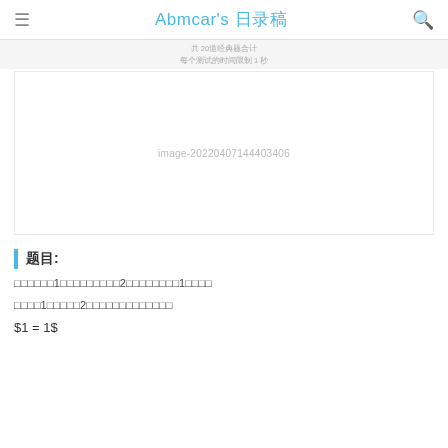Abmcar's 博客
共 20道经典题合计
每个测试的时间限制 1 秒
[Figure (other): image placeholder with text 'image-20220407144403406']
题目:
□□□□□□1□□□□□□□□□2□□□□□□□□1□□□□
□□□□1□□□□□2□□□□□□□□□□□□□